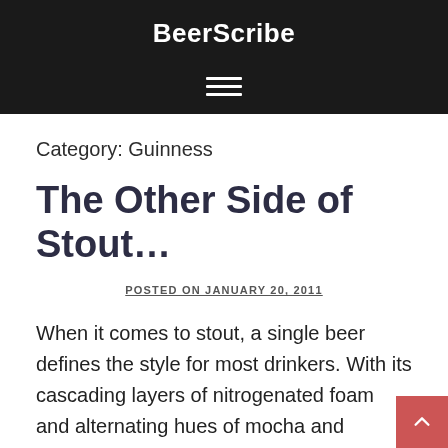BeerScribe
Category: Guinness
The Other Side of Stout…
POSTED ON JANUARY 20, 2011
When it comes to stout, a single beer defines the style for most drinkers. With its cascading layers of nitrogenated foam and alternating hues of mocha and